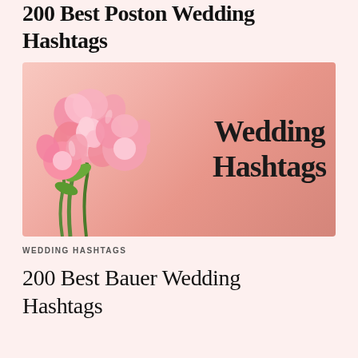200 Best Poston Wedding Hashtags
[Figure (illustration): Pink carnation flowers on the left side against a soft pink gradient background with bold text 'Wedding Hashtags' on the right side]
WEDDING HASHTAGS
200 Best Bauer Wedding Hashtags